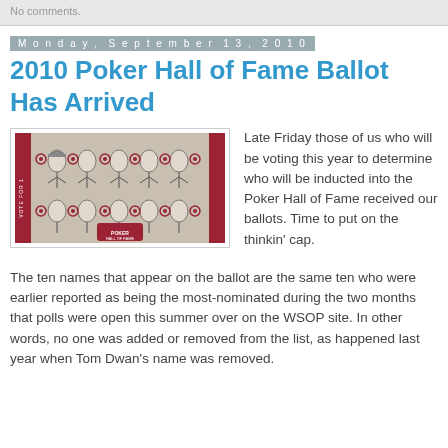No comments.
Monday, September 13, 2010
2010 Poker Hall of Fame Ballot Has Arrived
[Figure (illustration): Image of a Poker Hall of Fame ballot showing illustrated caricatures of poker players arranged in two rows with circular voting markers, red side borders, and a Poker Hall of Fame logo at the bottom center.]
Late Friday those of us who will be voting this year to determine who will be inducted into the Poker Hall of Fame received our ballots. Time to put on the thinkin' cap.
The ten names that appear on the ballot are the same ten who were earlier reported as being the most-nominated during the two months that polls were open this summer over on the WSOP site. In other words, no one was added or removed from the list, as happened last year when Tom Dwan's name was removed.